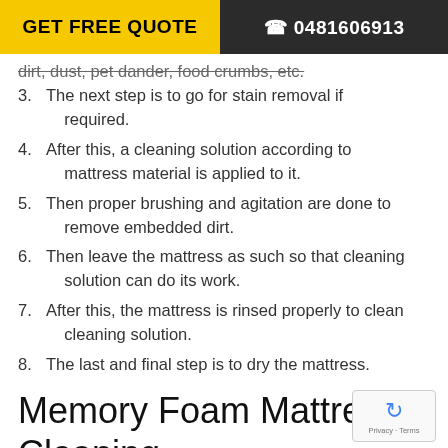GET FREE QUOTE | ☎ 0481606913
dirt, dust, pet dander, food crumbs, etc.
3. The next step is to go for stain removal if required.
4. After this, a cleaning solution according to mattress material is applied to it.
5. Then proper brushing and agitation are done to remove embedded dirt.
6. Then leave the mattress as such so that cleaning solution can do its work.
7. After this, the mattress is rinsed properly to clean cleaning solution.
8. The last and final step is to dry the mattress.
Memory Foam Mattress Cleaning